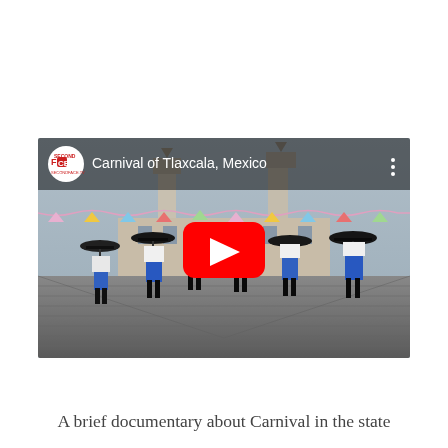[Figure (screenshot): YouTube video thumbnail showing the Carnival of Tlaxcala, Mexico. Performers in blue and white costumes carrying black umbrellas march across a cobblestone plaza. A colorful building with decorative paper banners is visible in the background. The YouTube play button is overlaid in the center. The Second Face logo and video title 'Carnival of Tlaxcala, Mexico' appear in the top-left overlay bar.]
A brief documentary about Carnival in the state